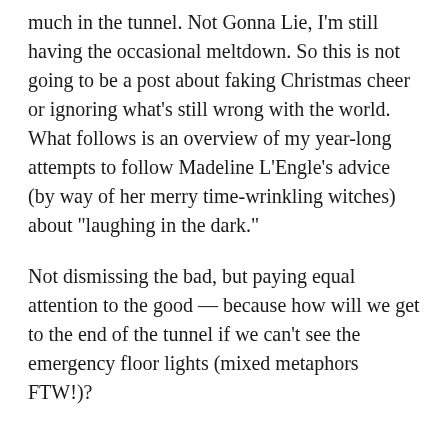much in the tunnel. Not Gonna Lie, I'm still having the occasional meltdown. So this is not going to be a post about faking Christmas cheer or ignoring what's still wrong with the world. What follows is an overview of my year-long attempts to follow Madeline L'Engle's advice (by way of her merry time-wrinkling witches) about “laughing in the dark.”
Not dismissing the bad, but paying equal attention to the good — because how will we get to the end of the tunnel if we can’t see the emergency floor lights (mixed metaphors FTW!)?